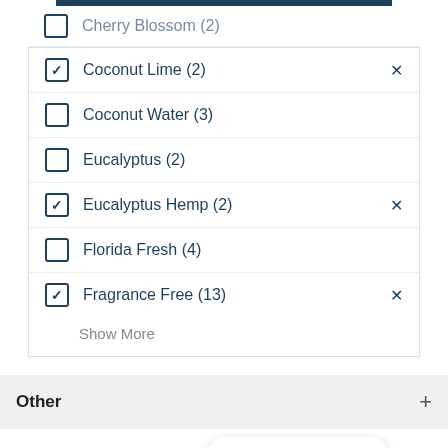Cherry Blossom (2)
Coconut Lime (2) [checked]
Coconut Water (3)
Eucalyptus (2)
Eucalyptus Hemp (2) [checked]
Florida Fresh (4)
Fragrance Free (13) [checked]
Show More
Other
Hi. How can we help?
[Figure (screenshot): BODY logo with flower icon and dotted line, chat button overlay]